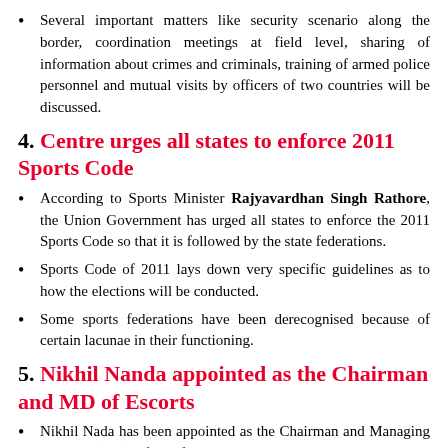Several important matters like security scenario along the border, coordination meetings at field level, sharing of information about crimes and criminals, training of armed police personnel and mutual visits by officers of two countries will be discussed.
4. Centre urges all states to enforce 2011 Sports Code
According to Sports Minister Rajyavardhan Singh Rathore, the Union Government has urged all states to enforce the 2011 Sports Code so that it is followed by the state federations.
Sports Code of 2011 lays down very specific guidelines as to how the elections will be conducted.
Some sports federations have been derecognised because of certain lacunae in their functioning.
5. Nikhil Nanda appointed as the Chairman and MD of Escorts
Nikhil Nada has been appointed as the Chairman and Managing Director (MD) of the farm and construction equipment maker company 'Escorts'.
He succeeded his father Rajan Nanda who passed